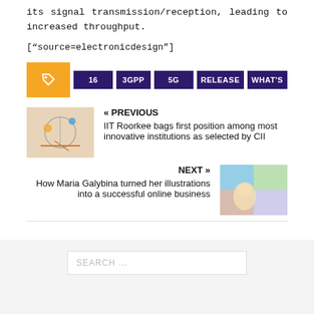its signal transmission/reception, leading to increased throughput.
["source=electronicdesign"]
[Figure (other): Tag buttons row: orange tag icon, then dark purple buttons labeled 16, 3GPP, 5G, RELEASE, WHAT'S]
« PREVIOUS
IIT Roorkee bags first position among most innovative institutions as selected by CII
NEXT »
How Maria Galybina turned her illustrations into a successful online business
SEARCH ...